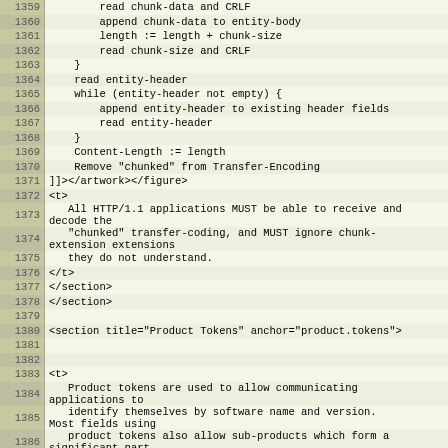Source code listing lines 1359-1386 showing HTTP/1.1 chunked transfer encoding pseudocode and XML markup including section for Product Tokens